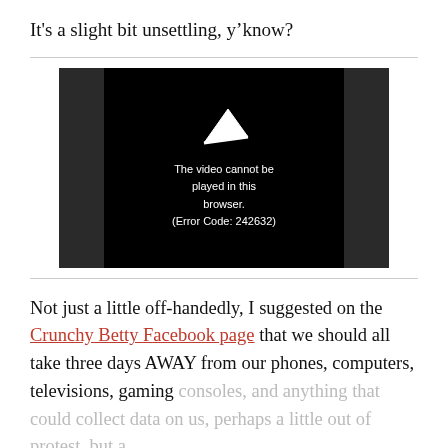It's a slight bit unsettling, y'know?
[Figure (screenshot): Video player error screen with black background showing a play icon and error message: 'The video cannot be played in this browser. (Error Code: 242632)']
Not just a little off-handedly, I suggested on the Crunchy Betty Facebook page that we should all take three days AWAY from our phones, computers, televisions, gaming consoles, and anything that could collect data on us, perhaps a little out of protest, but a